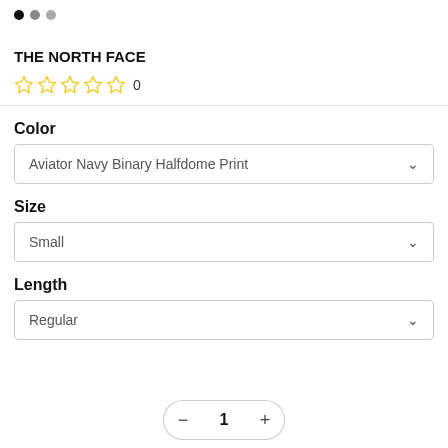[Figure (other): Three navigation dots (black, gray, gray) at top]
THE NORTH FACE
☆ ☆ ☆ ☆ ☆ 0
Color
Aviator Navy Binary Halfdome Print
Size
Small
Length
Regular
[Figure (other): Quantity selector with minus button, number 1, and plus button at bottom]